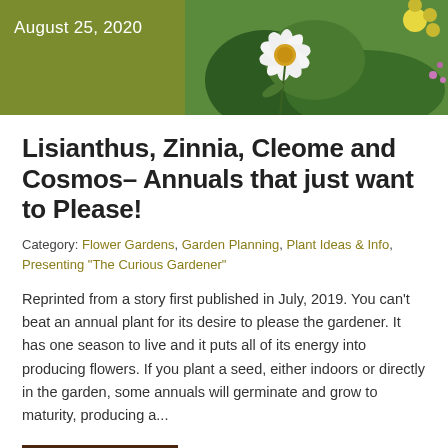August 25, 2020
[Figure (photo): Header photo showing white cosmos flower and other garden flowers with green foliage]
Lisianthus, Zinnia, Cleome and Cosmos– Annuals that just want to Please!
Category: Flower Gardens, Garden Planning, Plant Ideas & Info, Presenting "The Curious Gardener"
Reprinted from a story first published in July, 2019. You can't beat an annual plant for its desire to please the gardener. It has one season to live and it puts all of its energy into producing flowers. If you plant a seed, either indoors or directly in the garden, some annuals will germinate and grow to maturity, producing a...
Read More